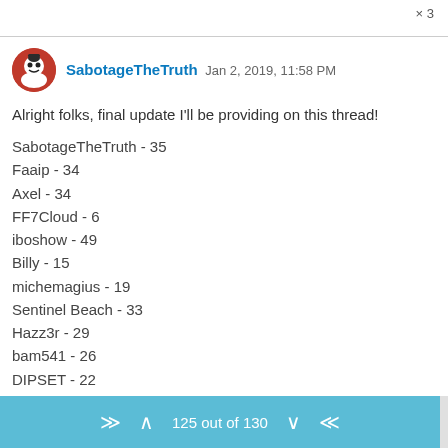× 3
SabotageTheTruth  Jan 2, 2019, 11:58 PM
Alright folks, final update I'll be providing on this thread!
SabotageTheTruth - 35
Faaip - 34
Axel - 34
FF7Cloud - 6
iboshow - 49
Billy - 15
michemagius - 19
Sentinel Beach - 33
Hazz3r - 29
bam541 - 26
DIPSET - 22
Sheria - 80
Ringedwithtile - 56
Fridge-man - 16
Hidz - 42
125 out of 130